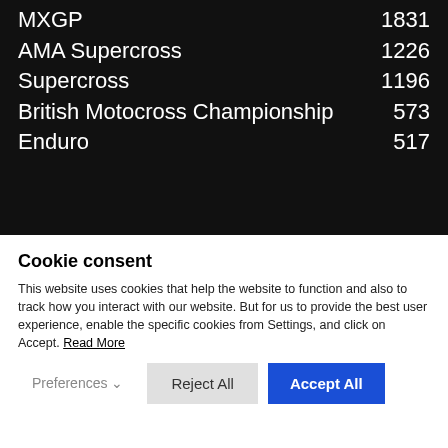MXGP  1831
AMA Supercross  1226
Supercross  1196
British Motocross Championship  573
Enduro  517
[Figure (logo): Dirt Bike Rider logo in white on dark background]
Cookie consent
This website uses cookies that help the website to function and also to track how you interact with our website. But for us to provide the best user experience, enable the specific cookies from Settings, and click on Accept. Read More
Preferences  Reject All  Accept All